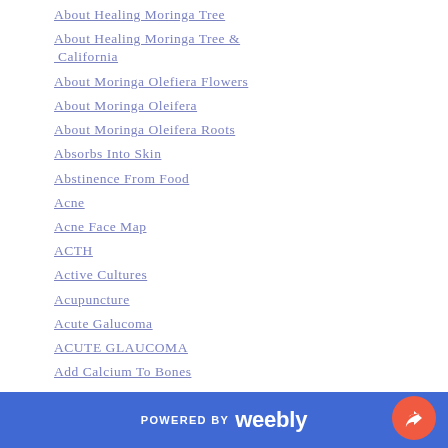About Healing Moringa Tree
About Healing Moringa Tree & California
About Moringa Olefiera Flowers
About Moringa Oleifera
About Moringa Oleifera Roots
Absorbs Into Skin
Abstinence From Food
Acne
Acne Face Map
ACTH
Active Cultures
Acupuncture
Acute Galucoma
ACUTE GLAUCOMA
Add Calcium To Bones
Adequate Functioning
POWERED BY weebly